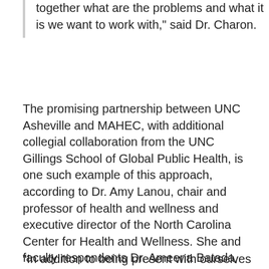together what are the problems and what it is we want to work with," said Dr. Charon.
The promising partnership between UNC Asheville and MAHEC, with additional collegial collaboration from the UNC Gillings School of Global Public Health, is one such example of this approach, according to Dr. Amy Lanou, chair and professor of health and wellness and executive director of the North Carolina Center for Health and Wellness. She and faculty respondents Dr. Ameena Batada, associate professor of health and wellness; Dr. John W. Brock, associate professor of analytical chemistry and toxicology; and Dr. Ted Meigs, GlaxoSmithKline Professor of Molecular and Chemical Biology, shared details of their work.
“In addition to being present with ourselves and